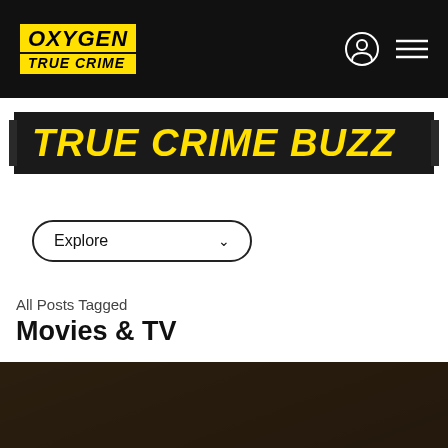[Figure (logo): Oxygen True Crime logo in yellow on black navigation bar with user icon and hamburger menu]
TRUE CRIME BUZZ
Explore
All Posts Tagged
Movies & TV
[Figure (photo): Dark photo of a person, partially visible at bottom of page]